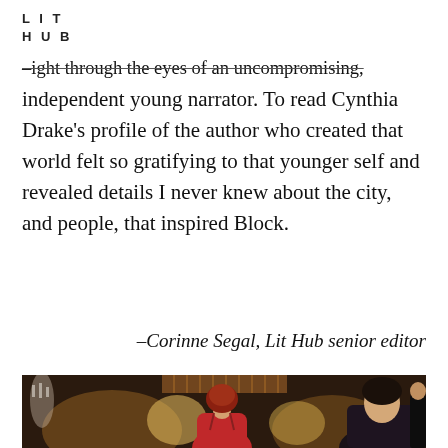LIT
HUB
–ight through the eyes of an uncompromising, independent young narrator. To read Cynthia Drake's profile of the author who created that world felt so gratifying to that younger self and revealed details I never knew about the city, and people, that inspired Block.
–Corinne Segal, Lit Hub senior editor
[Figure (photo): Photograph showing two women at what appears to be an elegant interior venue. One woman seen from behind with short reddish hair wearing a red dress, another woman facing slightly toward the camera in a dark outfit. Warm ambient lighting with lamps and decorative elements in the background.]